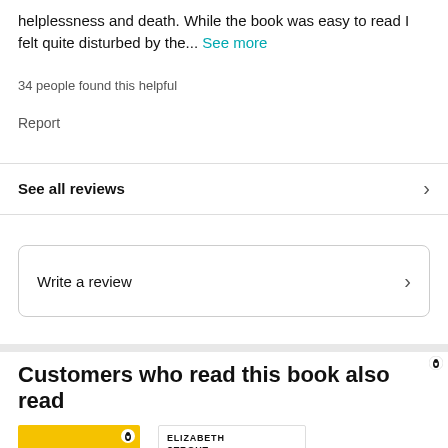helplessness and death. While the book was easy to read I felt quite disturbed by the... See more
34 people found this helpful
Report
See all reviews
Write a review
Customers who read this book also read
[Figure (photo): Book cover: Elizabeth Strout, yellow background with red text showing 'Oli...' and a Penguin logo]
[Figure (photo): Book cover: Elizabeth Strout, white background with red 'My' title text, Penguin logo, and review excerpt text]